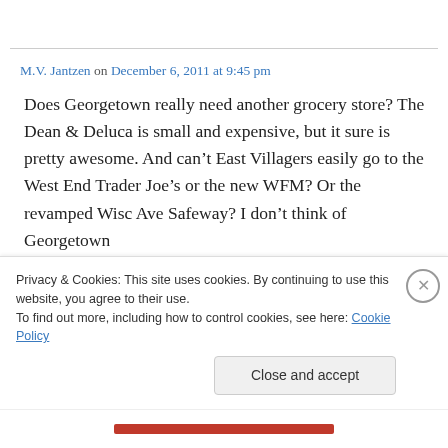M.V. Jantzen on December 6, 2011 at 9:45 pm
Does Georgetown really need another grocery store? The Dean & Deluca is small and expensive, but it sure is pretty awesome. And can’t East Villagers easily go to the West End Trader Joe’s or the new WFM? Or the revamped Wisc Ave Safeway? I don’t think of Georgetown
Privacy & Cookies: This site uses cookies. By continuing to use this website, you agree to their use.
To find out more, including how to control cookies, see here: Cookie Policy
Close and accept